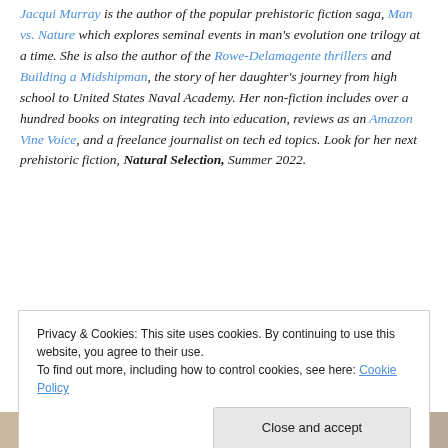Jacqui Murray is the author of the popular prehistoric fiction saga, Man vs. Nature which explores seminal events in man's evolution one trilogy at a time. She is also the author of the Rowe-Delamagente thrillers and Building a Midshipman, the story of her daughter's journey from high school to United States Naval Academy. Her non-fiction includes over a hundred books on integrating tech into education, reviews as an Amazon Vine Voice, and a freelance journalist on tech ed topics. Look for her next prehistoric fiction, Natural Selection, Summer 2022.
Privacy & Cookies: This site uses cookies. By continuing to use this website, you agree to their use. To find out more, including how to control cookies, see here: Cookie Policy
[Figure (photo): Partial view of a photo strip showing faces, cropped at the bottom of the page]